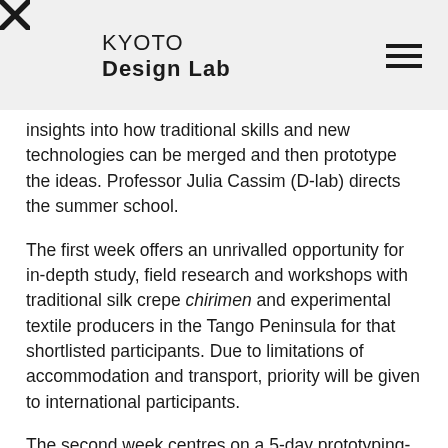KYOTO Design Lab
insights into how traditional skills and new technologies can be merged and then prototype the ideas. Professor Julia Cassim (D-lab) directs the summer school.
The first week offers an unrivalled opportunity for in-depth study, field research and workshops with traditional silk crepe chirimen and experimental textile producers in the Tango Peninsula for that shortlisted participants. Due to limitations of accommodation and transport, priority will be given to international participants.
The second week centres on a 5-day prototyping-based design workshop at Kyoto Institute of Technology centred on the two themes of eTextiles and experimental print surfaces using the advanced digital fabrication and print workshop facilities of D-lab.
Read a report by Chelsea College of Arts' 2019 participants here and see a video of previous summer schools here